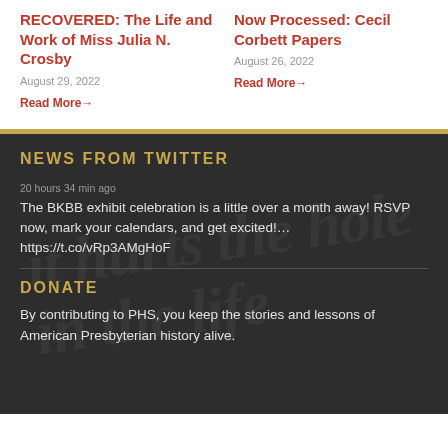RECOVERED: The Life and Work of Miss Julia N. Crosby
August 29, 2022
Read More→
Now Processed: Cecil Corbett Papers
August 26, 2022
Read More→
NEWS FROM TWITTER
20 hours 34 min ago
The BKBB exhibit celebration is a little over a month away! RSVP now, mark your calendars, and get excited!… https://t.co/vRp3AMgHoF
DONATE
By contributing to PHS, you keep the stories and lessons of American Presbyterian history alive.